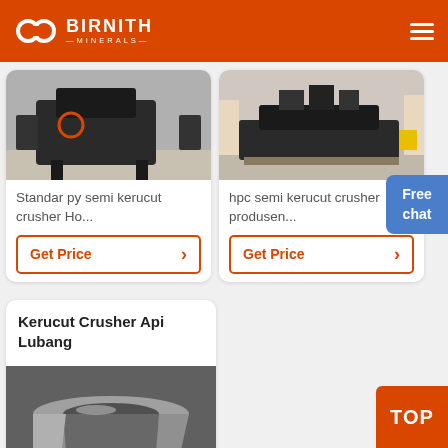BIRNITH MINERALS
[Figure (photo): Industrial crusher machine in a factory setting]
Standar py semi kerucut crusher Ho...
Get Price
[Figure (photo): HPC cone crusher machine in a manufacturing facility]
hpc semi kerucut crusher produsen...
Get Price
Free chat
Kerucut Crusher Api Lubang
[Figure (photo): Metallic cone crusher bowl/ring component - silver colored heavy industrial part]
TOP